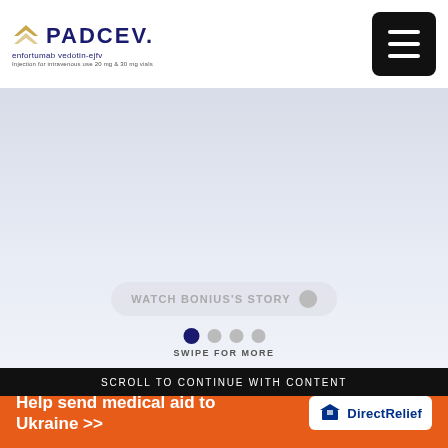[Figure (logo): PADCEV logo with enfortumab vedotin-ejfv brand text and small print, plus hamburger menu icon in top right]
[Figure (screenshot): Hero banner with light blue-gray gradient background, Watch Bonius's Story button overlay, and swipe navigation dots with SWIPE FOR MORE label]
SCROLL TO CONTINUE WITH CONTENT
Moving right along, I tackled the disgusting firebox which was covered with years of soot. I started off with soap and water, but had to
[Figure (infographic): Direct Relief advertisement banner: orange background with white bold text 'Help send medical aid to Ukraine >>' and Direct Relief logo on white pill on right side]